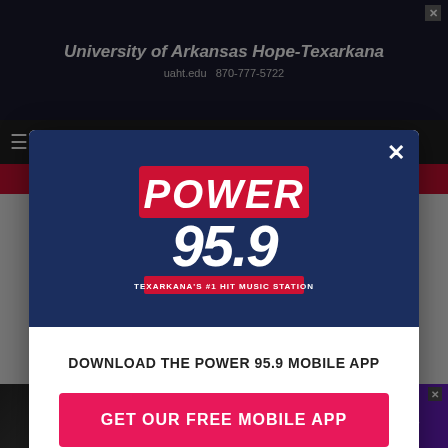[Figure (screenshot): Background webpage showing University of Arkansas Hope-Texarkana advertisement banner at top, dark navigation bar, red strip, and Church on the Rock advertisement at bottom. A modal dialog overlays the page center.]
[Figure (logo): Power 95.9 FM radio station logo — white italic text 'POWER' with red background accent, large '95.9' in white, tagline 'TEXARKANA'S #1 HIT MUSIC STATION' on dark navy background.]
DOWNLOAD THE POWER 95.9 MOBILE APP
GET OUR FREE MOBILE APP
Also listen on:  amazon alexa